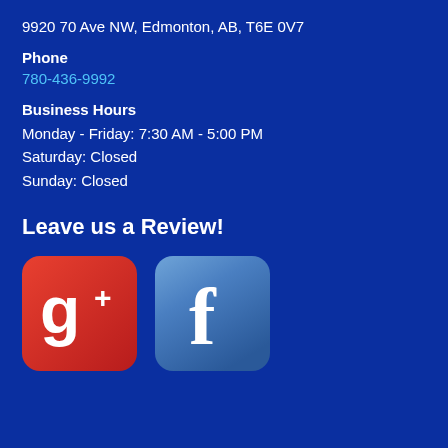9920 70 Ave NW, Edmonton, AB, T6E 0V7
Phone
780-436-9992
Business Hours
Monday - Friday: 7:30 AM - 5:00 PM
Saturday: Closed
Sunday: Closed
Leave us a Review!
[Figure (logo): Google+ logo icon - red rounded square with white G+ symbol]
[Figure (logo): Facebook logo icon - blue rounded square with white f symbol]